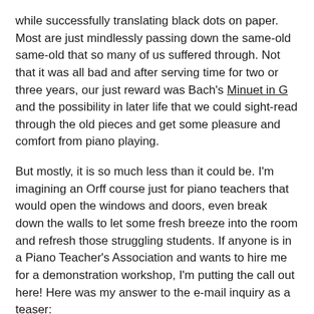while successfully translating black dots on paper. Most are just mindlessly passing down the same-old same-old that so many of us suffered through. Not that it was all bad and after serving time for two or three years, our just reward was Bach's Minuet in G and the possibility in later life that we could sight-read through the old pieces and get some pleasure and comfort from piano playing.
But mostly, it is so much less than it could be. I'm imagining an Orff course just for piano teachers that would open the windows and doors, even break down the walls to let some fresh breeze into the room and refresh those struggling students. If anyone is in a Piano Teacher's Association and wants to hire me for a demonstration workshop, I'm putting the call out here! Here was my answer to the e-mail inquiry as a teaser:
“Thank you for your inquiry. As a pianist and Orff-Schulwerk teacher, I personally think they’re a great fit! But it takes a bit of reflection and imagination to figure out how. Consider these points: